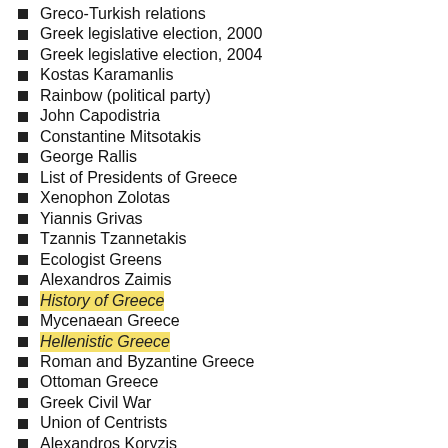Greco-Turkish relations
Greek legislative election, 2000
Greek legislative election, 2004
Kostas Karamanlis
Rainbow (political party)
John Capodistria
Constantine Mitsotakis
George Rallis
List of Presidents of Greece
Xenophon Zolotas
Yiannis Grivas
Tzannis Tzannetakis
Ecologist Greens
Alexandros Zaimis
History of Greece
Mycenaean Greece
Hellenistic Greece
Roman and Byzantine Greece
Ottoman Greece
Greek Civil War
Union of Centrists
Alexandros Koryzis
Adamantios Androutsopoulos